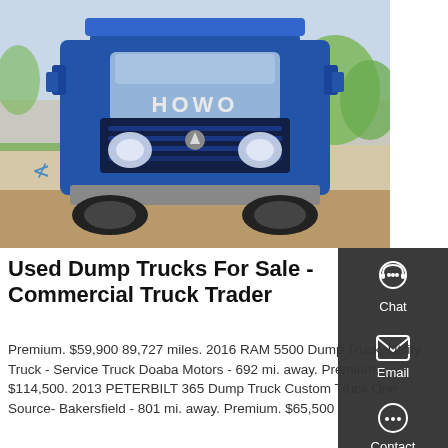[Figure (photo): Front view of a blue HOWO dump truck parked on a dirt lot with a low wall and trees in the background.]
Used Dump Trucks For Sale - Commercial Truck Trader
Premium. $59,900 89,727 miles. 2016 RAM 5500 Dump Truck, Utility Truck - Service Truck Doaba Motors - 692 mi. away. Premium. $114,500. 2013 PETERBILT 365 Dump Truck Custom Truck One Source- Bakersfield - 801 mi. away. Premium. $65,500